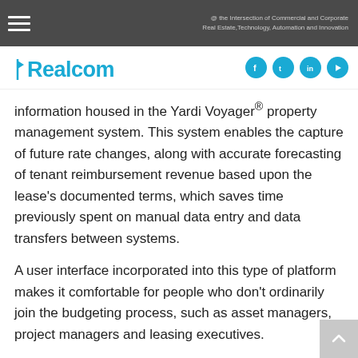@ the Intersection of Commercial and Corporate Real Estate,Technology, Automation and Innovation
[Figure (logo): Realcomm logo in blue with social media icons (Facebook, Twitter, LinkedIn, YouTube)]
information housed in the Yardi Voyager® property management system. This system enables the capture of future rate changes, along with accurate forecasting of tenant reimbursement revenue based upon the lease's documented terms, which saves time previously spent on manual data entry and data transfers between systems.
A user interface incorporated into this type of platform makes it comfortable for people who don't ordinarily join the budgeting process, such as asset managers, project managers and leasing executives.